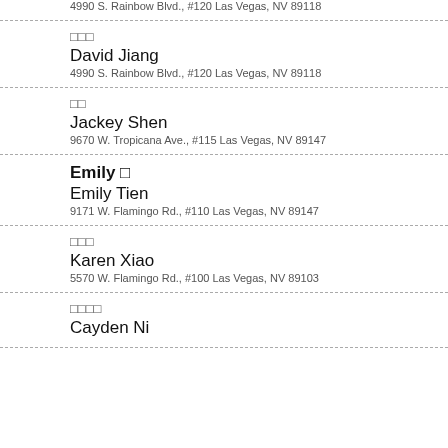4990 S. Rainbow Blvd., #120 Las Vegas, NV 89118
□□□ | David Jiang | 4990 S. Rainbow Blvd., #120 Las Vegas, NV 89118
□□ | Jackey Shen | 9670 W. Tropicana Ave., #115 Las Vegas, NV 89147
Emily □ | Emily Tien | 9171 W. Flamingo Rd., #110 Las Vegas, NV 89147
□□□ | Karen Xiao | 5570 W. Flamingo Rd., #100 Las Vegas, NV 89103
□□□□ | Cayden Ni